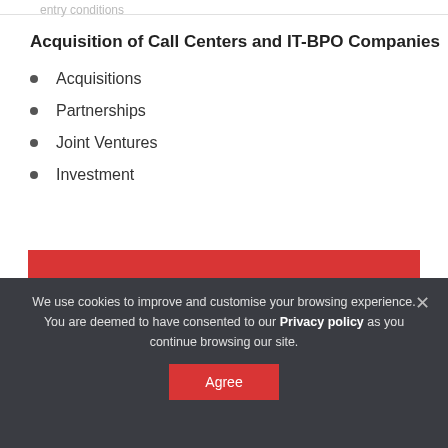entry conditions
Acquisition of Call Centers and IT-BPO Companies
Acquisitions
Partnerships
Joint Ventures
Investment
[Figure (infographic): Red banner with bold white text reading: Leverage on our success and let's discuss your business requirements]
We use cookies to improve and customise your browsing experience. You are deemed to have consented to our Privacy policy as you continue browsing our site.